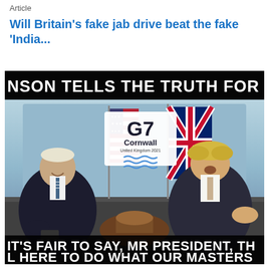Article
Will Britain's fake jab drive beat the fake 'India...
[Figure (photo): Meme image showing two political figures seated at a G7 Cornwall meeting, with meme text overlay reading 'NSON TELLS THE TRUTH FOR ON' at top and 'IT’S FAIR TO SAY, MR PRESIDENT, TH' / 'L HERE TO DO WHAT OUR MASTERS' at bottom]